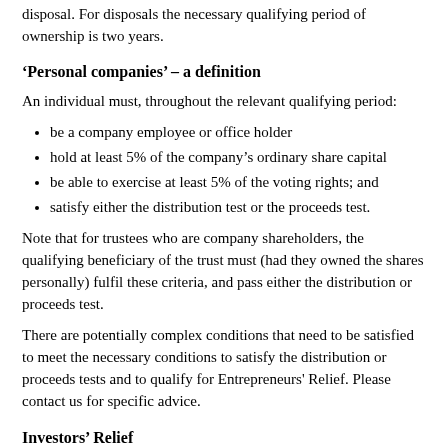disposal. For disposals the necessary qualifying period of ownership is two years.
'Personal companies' – a definition
An individual must, throughout the relevant qualifying period:
be a company employee or office holder
hold at least 5% of the company's ordinary share capital
be able to exercise at least 5% of the voting rights; and
satisfy either the distribution test or the proceeds test.
Note that for trustees who are company shareholders, the qualifying beneficiary of the trust must (had they owned the shares personally) fulfil these criteria, and pass either the distribution or proceeds test.
There are potentially complex conditions that need to be satisfied to meet the necessary conditions to satisfy the distribution or proceeds tests and to qualify for Entrepreneurs' Relief. Please contact us for specific advice.
Investors' Relief
A 10% CGT rate applies to external investors (ie not employees or